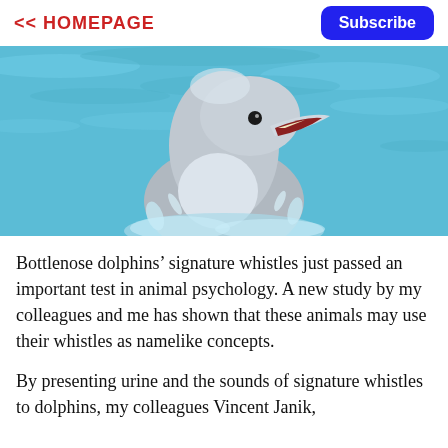<< HOMEPAGE
Subscribe
[Figure (photo): A bottlenose dolphin emerging from bright blue water, mouth open showing teeth, looking upward toward the camera.]
Bottlenose dolphins’ signature whistles just passed an important test in animal psychology. A new study by my colleagues and me has shown that these animals may use their whistles as namelike concepts.
By presenting urine and the sounds of signature whistles to dolphins, my colleagues Vincent Janik,